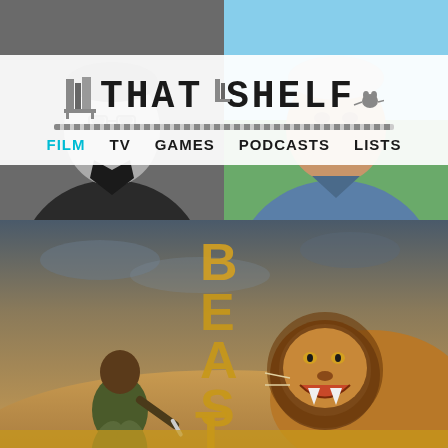[Figure (photo): Two headshots side by side: left is a black-and-white photo of a man in a suit, right is a color photo of an older man in a blue denim shirt outdoors]
[Figure (logo): That Shelf logo with stylized bookshelf icon and navigation bar: FILM (highlighted in teal), TV, GAMES, PODCASTS, LISTS]
[Figure (photo): Beast movie poster showing a man crouching with a knife facing a roaring lion, with the word BEAST in large vertical gold letters in the center, set in an African savanna landscape]